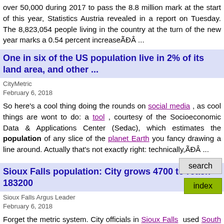over 50,000 during 2017 to pass the 8.8 million mark at the start of this year, Statistics Austria revealed in a report on Tuesday. The 8,823,054 people living in the country at the turn of the new year marks a 0.54 percent increaseÃĐÂ ...
One in six of the US population live in 2% of its land area, and other ...
CityMetric
February 6, 2018
So here's a cool thing doing the rounds on social media , as cool things are wont to do: a tool , courtesy of the Socioeconomic Data & Applications Center (Sedac), which estimates the population of any slice of the planet Earth you fancy drawing a line around. Actually that's not exactly right: technically,ÃĐÂ ...
Sioux Falls population: City grows 4700 to reach 183200
Sioux Falls Argus Leader
February 6, 2018
Forget the metric system. City officials in Sioux Falls used South Dakota geography Tuesday to describe Sioux Falls' dynamic growth during the last eight years. The city's population grew to 183200 this year. The increase of 4,700 people was a 2.5 percent increase over the previous year -- aÃĐÂ ...
Kentucky Bald Eagle Population Growth Taking Off
WOWK